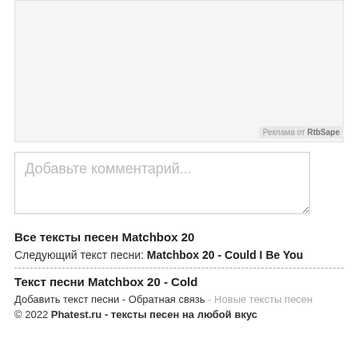[Figure (other): Advertisement placeholder box (light gray background with border)]
Реклама от RtbSape
Добавьте комментарий...
Все тексты песен Matchbox 20
Следующий текст песни: Matchbox 20 - Could I Be You
Текст песни Matchbox 20 - Cold
Добавить текст песни - Обратная связь - Новые тексты песен
© 2022 Phatest.ru - тексты песен на любой вкус